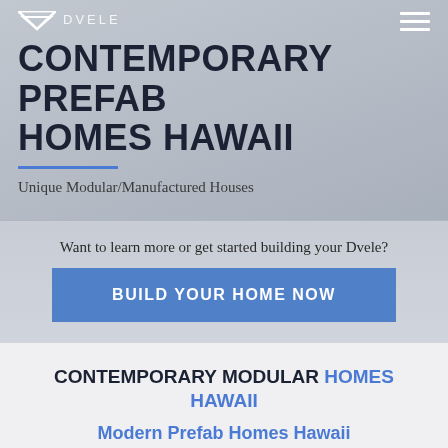DVELE
CONTEMPORARY PREFAB HOMES HAWAII
Unique Modular/Manufactured Houses
Want to learn more or get started building your Dvele?
BUILD YOUR HOME NOW
CONTEMPORARY MODULAR HOMES HAWAII
Modern Prefab Homes Hawaii